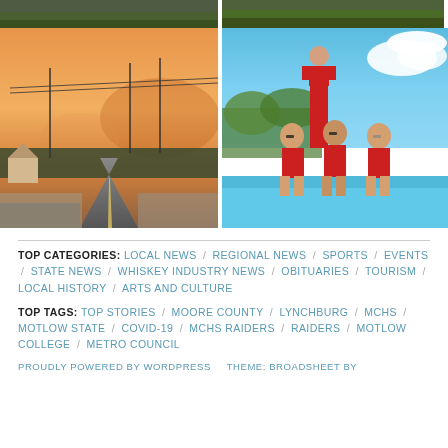[Figure (photo): Top-left photo, partially visible, dark green/nature scene at top]
[Figure (photo): Top-right photo, partially visible, dark green scene]
[Figure (photo): Bottom-left photo: sunset/hazy sky over a road with power lines, orange and smoky sky]
[Figure (photo): Bottom-right photo: three teenage boys in red swimshorts standing by a red lifeguard stand at a pool on a sunny day]
TOP CATEGORIES: LOCAL NEWS / REGIONAL NEWS / SPORTS / EVENTS / STATE NEWS / WHISKEY INDUSTRY NEWS / OBITUARIES / TOURISM / LOCAL HISTORY / ARTS AND CULTURE
TOP TAGS: TOP STORIES / MOORE COUNTY / LYNCHBURG / MCHS / MOTLOW STATE / COVID-19 / MCHS RAIDERS / RAIDERS / MOTLOW COLLEGE / METRO COUNCIL
PROUDLY POWERED BY WORDPRESS   THEME: BROADSHEET BY